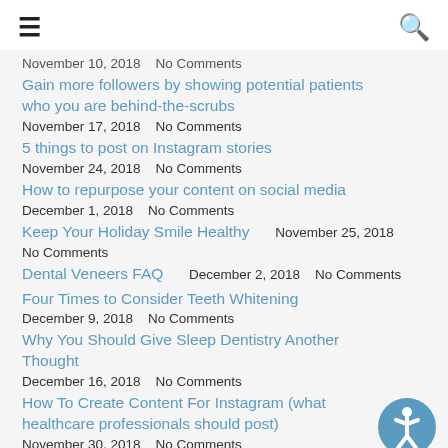≡  🔍
November 10, 2018    No Comments
Gain more followers by showing potential patients who you are behind-the-scrubs
November 17, 2018    No Comments
5 things to post on Instagram stories
November 24, 2018    No Comments
How to repurpose your content on social media
December 1, 2018    No Comments
Keep Your Holiday Smile Healthy   November 25, 2018   No Comments
Dental Veneers FAQ   December 2, 2018   No Comments
Four Times to Consider Teeth Whitening
December 9, 2018    No Comments
Why You Should Give Sleep Dentistry Another Thought
December 16, 2018    No Comments
How To Create Content For Instagram (what healthcare professionals should post)
November 30, 2018    No Comments
Instagram Analytics 101   December 8, 2018